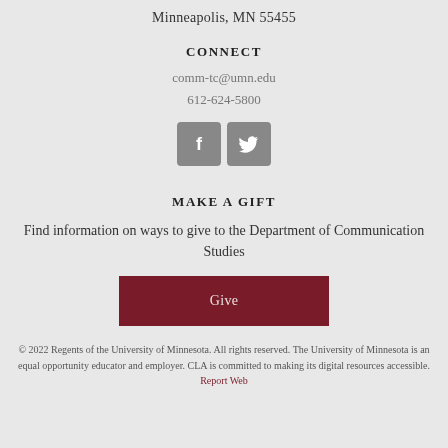Minneapolis, MN 55455
CONNECT
comm-tc@umn.edu
612-624-5800
[Figure (other): Facebook and Twitter social media icon buttons (rounded square, grey background)]
MAKE A GIFT
Find information on ways to give to the Department of Communication Studies
Give
© 2022 Regents of the University of Minnesota. All rights reserved. The University of Minnesota is an equal opportunity educator and employer. CLA is committed to making its digital resources accessible. Report Web